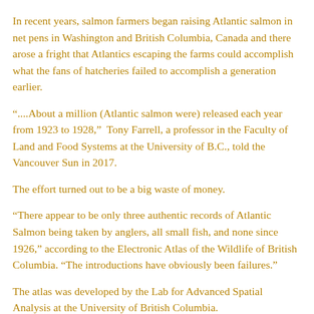In recent years, salmon farmers began raising Atlantic salmon in net pens in Washington and British Columbia, Canada and there arose a fright that Atlantics escaping the farms could accomplish what the fans of hatcheries failed to accomplish a generation earlier.
“....About a million (Atlantic salmon were) released each year from 1923 to 1928,”  Tony Farrell, a professor in the Faculty of Land and Food Systems at the University of B.C., told the Vancouver Sun in 2017.
The effort turned out to be a big waste of money.
“There appear to be only three authentic records of Atlantic Salmon being taken by anglers, all small fish, and none since 1926,” according to the Electronic Atlas of the Wildlife of British Columbia. “The introductions have obviously been failures.”
The atlas was developed by the Lab for Advanced Spatial Analysis at the University of British Columbia.